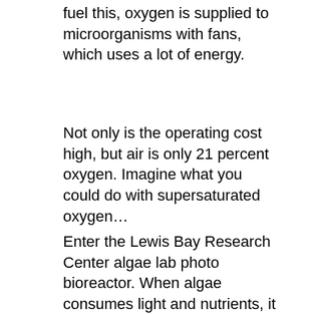fuel this, oxygen is supplied to microorganisms with fans, which uses a lot of energy.
Not only is the operating cost high, but air is only 21 percent oxygen. Imagine what you could do with supersaturated oxygen…
Enter the Lewis Bay Research Center algae lab photo bioreactor. When algae consumes light and nutrients, it produces oxygen, which is trapped in the water. Readings in the photo reactor showed 27.88 oxygen, which is 400%